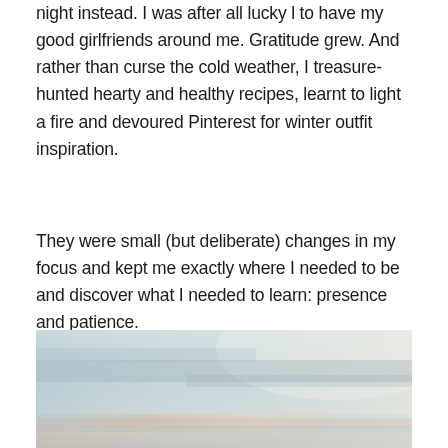night instead. I was after all lucky l to have my good girlfriends around me. Gratitude grew. And rather than curse the cold weather, I treasure-hunted hearty and healthy recipes, learnt to light a fire and devoured Pinterest for winter outfit inspiration.
They were small (but deliberate) changes in my focus and kept me exactly where I needed to be and discover what I needed to learn: presence and patience.
[Figure (photo): A photograph of an overcast sky with soft grey-blue clouds and a subtle warm glow on the horizon, suggesting dawn or dusk.]